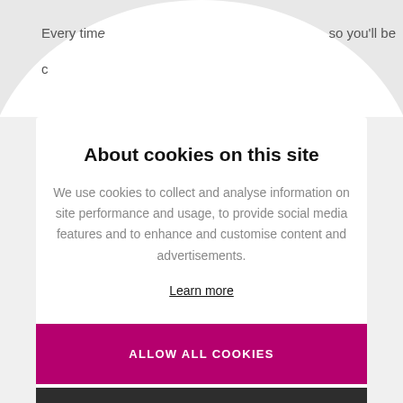Every tim…
…so you'll be
c
About cookies on this site
We use cookies to collect and analyse information on site performance and usage, to provide social media features and to enhance and customise content and advertisements.
Learn more
ALLOW ALL COOKIES
COOKIE SETTINGS